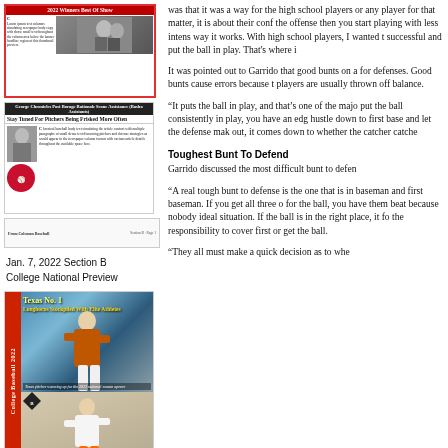[Figure (photo): Newspaper front page thumbnail with red border and 2022 Winners Best Of Show banner, showing a photo of people and dense text columns]
[Figure (screenshot): Newspaper clipping with headline 'Stay Tuned For Pitchers Being Frisked More Often', showing a photo of a man in suit and a baseball logo, with dense body text]
[Figure (screenshot): Narrow newspaper footer strip with small text and section tags]
Jan. 7, 2022 Section B
College National Preview
[Figure (photo): Magazine cover for College Baseball 2022 with red spine, showing two baseball player photos: a pitcher in orange uniform on top and another pitcher below; 'Texas No. 1' headline and 'Longhorns Stockpiled With Elite Athletes' subhead]
Texas No. 1
Longhorns Stockpiled With Elite Athletes
was that it was a way for the high school players or any player for that matter, it is about their conf the offense then you start playing with less intens way it works. With high school players, I wanted t successful and put the ball in play. That's where i
It was pointed out to Garrido that good bunts on a for defenses. Good bunts cause errors because t players are usually thrown off balance.
“It puts the ball in play, and that’s one of the majo put the ball consistently in play, you have an edg hustle down to first base and let the defense mak out, it comes down to whether the catcher catche
Toughest Bunt To Defend
Garrido discussed the most difficult bunt to defen
“A real tough bunt to defense is the one that is in baseman and first baseman. If you get all three o for the ball, you have them beat because nobody ideal situation. If the ball is in the right place, it fo the responsibility to cover first or get the ball.
“They all must make a quick decision as to whe